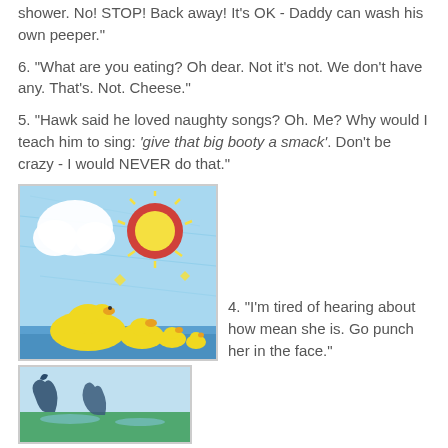shower. No! STOP! Back away! It's OK - Daddy can wash his own peeper."
6. "What are you eating? Oh dear. Not it's not. We don't have any. That's. Not. Cheese."
5. "Hawk said he loved naughty songs? Oh. Me? Why would I teach him to sing: 'give that big booty a smack'. Don't be crazy - I would NEVER do that."
[Figure (illustration): Child's crayon drawing of ducks on water with sun and clouds in blue sky background]
4. "I'm tired of hearing about how mean she is. Go punch her in the face."
[Figure (illustration): Child's crayon drawing of figures, partially visible at bottom of page]